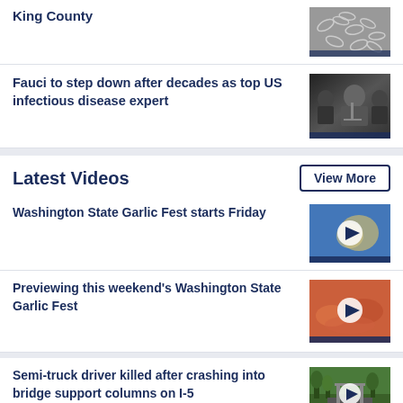King County
[Figure (photo): Microscope image of bacteria/pills on grey background]
Fauci to step down after decades as top US infectious disease expert
[Figure (photo): Photo of Dr. Fauci at a hearing, wearing a mask in background]
Latest Videos
View More
Washington State Garlic Fest starts Friday
[Figure (photo): Video thumbnail of Garlic Fest with play button, blue background]
Previewing this weekend's Washington State Garlic Fest
[Figure (photo): Video thumbnail of Garlic Fest food with play button]
Semi-truck driver killed after crashing into bridge support columns on I-5
[Figure (photo): Video thumbnail of bridge scene with play button]